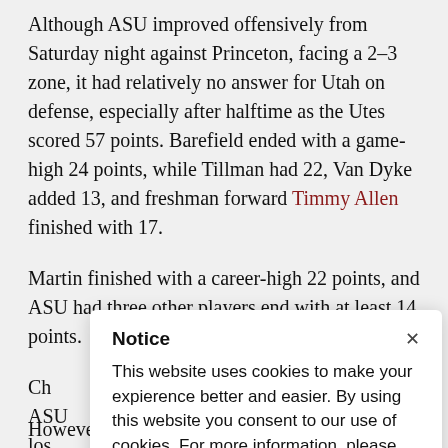Although ASU improved offensively from Saturday night against Princeton, facing a 2-3 zone, it had relatively no answer for Utah on defense, especially after halftime as the Utes scored 57 points. Barefield ended with a game-high 24 points, while Tillman had 22, Van Dyke added 13, and freshman forward Timmy Allen finished with 17.
Martin finished with a career-high 22 points, and ASU had three other players end with at least 14 points.
Ch... ASU... los... fall... con...
[Figure (screenshot): Cookie notice popup dialog with title 'Notice', close button 'x', and text: 'This website uses cookies to make your expierence better and easier. By using this website you consent to our use of cookies. For more information, please see our Cookie Policy.']
However, Hancy said he knows his team has to...